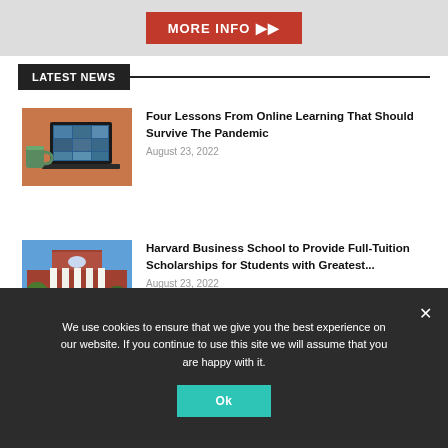[Figure (illustration): Banner with red MORE INFO button with double arrow]
LATEST NEWS
[Figure (photo): Laptop showing video conference grid of participants on screen, with a green mug beside it]
Four Lessons From Online Learning That Should Survive The Pandemic
August 23, 2022
[Figure (photo): Harvard Business School building with white columns and red brick facade, trees in foreground]
Harvard Business School to Provide Full-Tuition Scholarships for Students with Greatest...
August 23, 2022
We use cookies to ensure that we give you the best experience on our website. If you continue to use this site we will assume that you are happy with it.